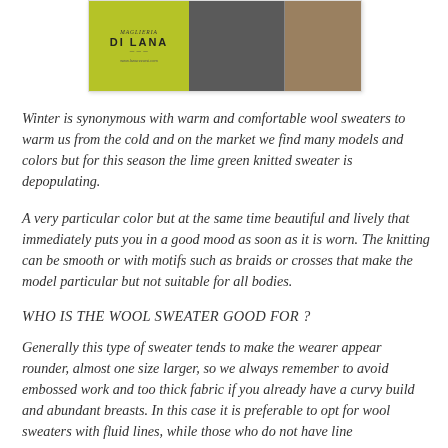[Figure (photo): Banner/advertisement image for 'Di Lana' brand with olive/lime green left panel showing brand name and website, and right panel showing dark fashion photos of knitted sweaters.]
Winter is synonymous with warm and comfortable wool sweaters to warm us from the cold and on the market we find many models and colors but for this season the lime green knitted sweater is depopulating.
A very particular color but at the same time beautiful and lively that immediately puts you in a good mood as soon as it is worn. The knitting can be smooth or with motifs such as braids or crosses that make the model particular but not suitable for all bodies.
WHO IS THE WOOL SWEATER GOOD FOR ?
Generally this type of sweater tends to make the wearer appear rounder, almost one size larger, so we always remember to avoid embossed work and too thick fabric if you already have a curvy build and abundant breasts. In this case it is preferable to opt for wool sweaters with fluid lines, while those who do not have line